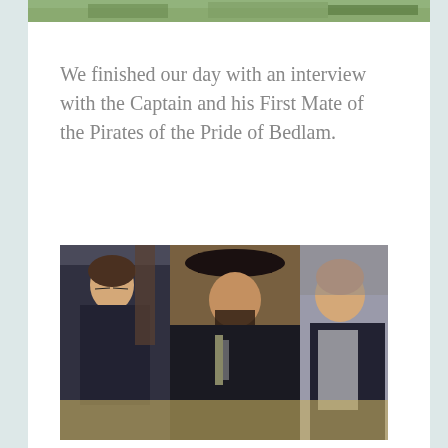[Figure (photo): Top partial photo showing green outdoor scene, partially cropped at top of page]
We finished our day with an interview with the Captain and his First Mate of the Pirates of the Pride of Bedlam.
[Figure (photo): Photo of a woman in dark clothing on the left, a man dressed as a pirate captain in the center, and another man in pirate costume on the right, at an outdoor Renaissance fair or similar event]